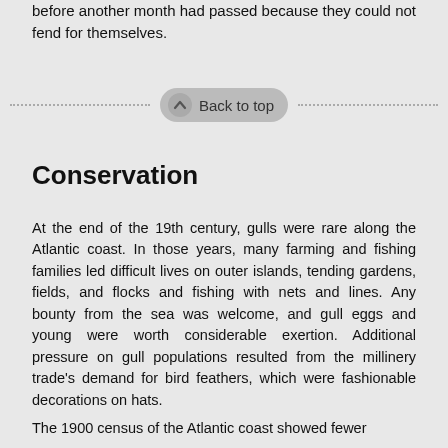before another month had passed because they could not fend for themselves.
Back to top
Conservation
At the end of the 19th century, gulls were rare along the Atlantic coast. In those years, many farming and fishing families led difficult lives on outer islands, tending gardens, fields, and flocks and fishing with nets and lines. Any bounty from the sea was welcome, and gull eggs and young were worth considerable exertion. Additional pressure on gull populations resulted from the millinery trade's demand for bird feathers, which were fashionable decorations on hats.
The 1900 census of the Atlantic coast showed fewer